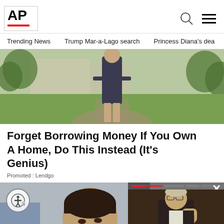[Figure (logo): AP (Associated Press) logo in black bold text with red underline bar, inside a light bordered box]
Trending News   Trump Mar-a-Lago search   Princess Diana's dea
[Figure (photo): Woman in dark dress standing in front of a suburban home with green lawn and stone driveway]
Forget Borrowing Money If You Own A Home, Do This Instead (It's Genius)
Promoted : Lendgo
[Figure (photo): Woman with short dark hair in a blue jacket looking down, seated at a table]
[Figure (photo): Popup overlay showing a man in suit raising fist, captioned 'Gorbachev, whore...' with progress bars at top and X close button]